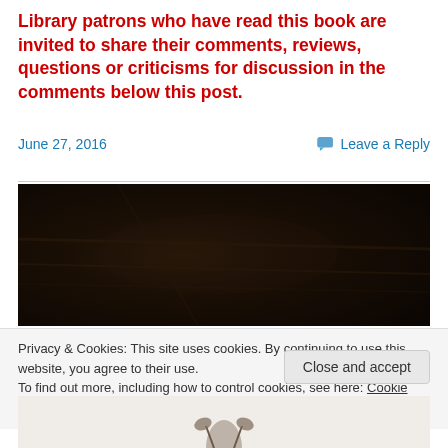Library patrons who have read this book are invited to share their comments, reviews, questions or criticisms for discussion in the comments below this post.
June 27, 2016
Leave a Reply
[Figure (photo): Dark brown wooden texture surface photo, nearly black]
Privacy & Cookies: This site uses cookies. By continuing to use this website, you agree to their use.
To find out more, including how to control cookies, see here: Cookie Policy
Close and accept
[Figure (photo): Partial view of a photo at the bottom, showing a white background with a small dark plant/leaf illustration]